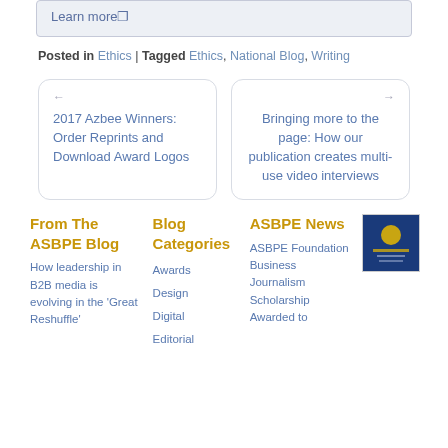Learn more
Posted in Ethics | Tagged Ethics, National Blog, Writing
← 2017 Azbee Winners: Order Reprints and Download Award Logos
→ Bringing more to the page: How our publication creates multi-use video interviews
From The ASBPE Blog
How leadership in B2B media is evolving in the 'Great Reshuffle'
Blog Categories
Awards
Design
Digital
Editorial
ASBPE News
ASBPE Foundation Business Journalism Scholarship Awarded to
[Figure (photo): Small square image with blue/yellow tones, appears to be an ASBPE related graphic]